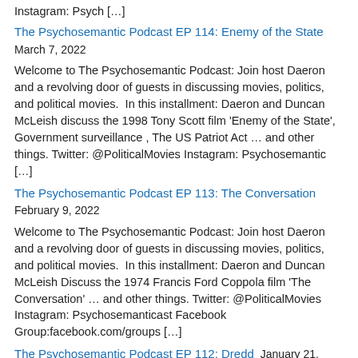Instagram: Psych […]
The Psychosemantic Podcast EP 114: Enemy of the State  March 7, 2022
Welcome to The Psychosemantic Podcast: Join host Daeron and a revolving door of guests in discussing movies, politics, and political movies.  In this installment: Daeron and Duncan McLeish discuss the 1998 Tony Scott film 'Enemy of the State', Government surveillance , The US Patriot Act … and other things. Twitter: @PoliticalMovies Instagram: Psychosemantic […]
The Psychosemantic Podcast EP 113: The Conversation  February 9, 2022
Welcome to The Psychosemantic Podcast: Join host Daeron and a revolving door of guests in discussing movies, politics, and political movies.  In this installment: Daeron and Duncan McLeish Discuss the 1974 Francis Ford Coppola film 'The Conversation' … and other things. Twitter: @PoliticalMovies Instagram: Psychosemanticast Facebook Group:facebook.com/groups […]
The Psychosemantic Podcast EP 112: Dredd  January 21, 2022
In this installment: Daeron and Mark Discuss the comic Judge Dredd , the 2012 movie adaptation 'Dredd', no-knock raids, and the militarization of police. Twitter: @PoliticalMovies Instagram: